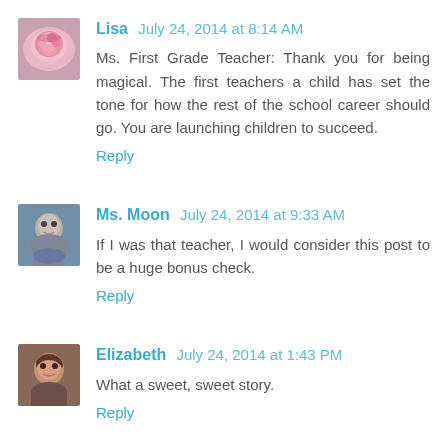Lisa  July 24, 2014 at 8:14 AM
Ms. First Grade Teacher: Thank you for being magical. The first teachers a child has set the tone for how the rest of the school career should go. You are launching children to succeed.
Reply
Ms. Moon  July 24, 2014 at 9:33 AM
If I was that teacher, I would consider this post to be a huge bonus check.
Reply
Elizabeth  July 24, 2014 at 1:43 PM
What a sweet, sweet story.
Reply